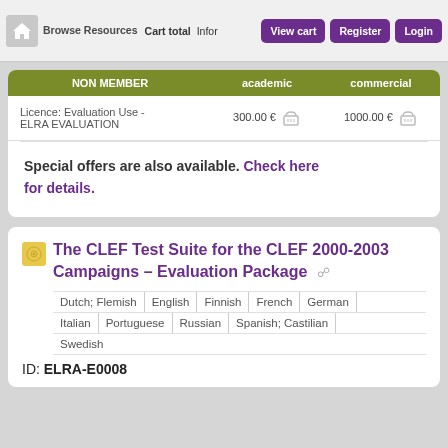Browse Resources  Cart total  Infor  View cart  Register  Login
| NON MEMBER | academic | commercial |
| --- | --- | --- |
| Licence: Evaluation Use - ELRA EVALUATION | 300.00 € | 1000.00 € |
Special offers are also available. Check here for details.
The CLEF Test Suite for the CLEF 2000-2003 Campaigns – Evaluation Package
Dutch; Flemish | English | Finnish | French | German | Italian | Portuguese | Russian | Spanish; Castilian | Swedish
ID: ELRA-E0008